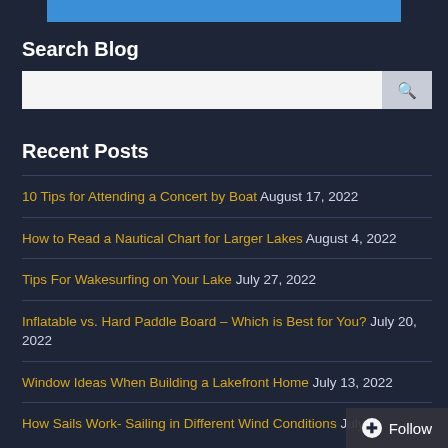[Figure (other): Blue horizontal bar at top of sidebar]
Search Blog
[Figure (other): Search input box with search icon button]
Recent Posts
10 Tips for Attending a Concert by Boat August 17, 2022
How to Read a Nautical Chart for Larger Lakes August 4, 2022
Tips For Wakesurfing on Your Lake July 27, 2022
Inflatable vs. Hard Paddle Board – Which is Best for You? July 20, 2022
Window Ideas When Building a Lakefront Home July 13, 2022
How Sails Work- Sailing in Different Wind Conditions July 6,